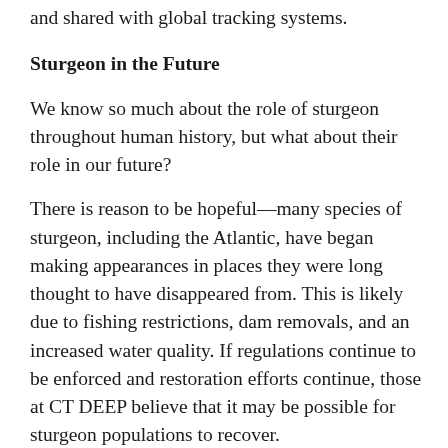and shared with global tracking systems.
Sturgeon in the Future
We know so much about the role of sturgeon throughout human history, but what about their role in our future?
There is reason to be hopeful—many species of sturgeon, including the Atlantic, have began making appearances in places they were long thought to have disappeared from. This is likely due to fishing restrictions, dam removals, and an increased water quality. If regulations continue to be enforced and restoration efforts continue, those at CT DEEP believe that it may be possible for sturgeon populations to recover.